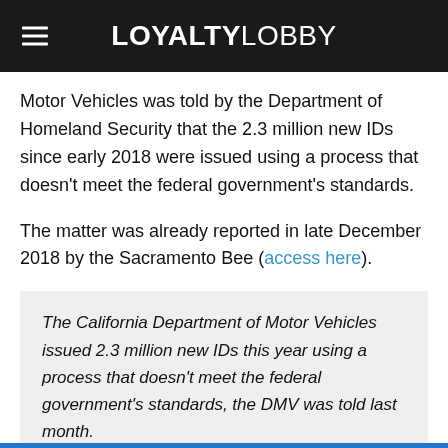LOYALTYLOBBY
Motor Vehicles was told by the Department of Homeland Security that the 2.3 million new IDs since early 2018 were issued using a process that doesn't meet the federal government's standards.
The matter was already reported in late December 2018 by the Sacramento Bee (access here).
The California Department of Motor Vehicles issued 2.3 million new IDs this year using a process that doesn't meet the federal government's standards, the DMV was told last month.
The development means Californians who got those Real IDs will need to provide a second